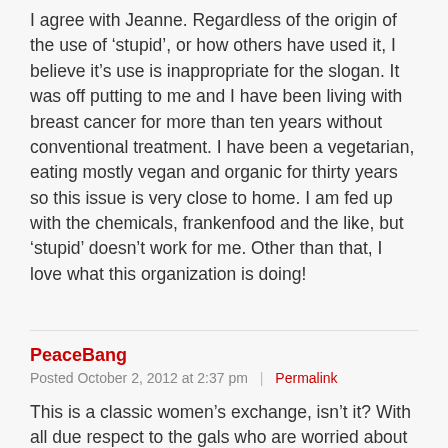I agree with Jeanne. Regardless of the origin of the use of ‘stupid’, or how others have used it, I believe it’s use is inappropriate for the slogan. It was off putting to me and I have been living with breast cancer for more than ten years without conventional treatment. I have been a vegetarian, eating mostly vegan and organic for thirty years so this issue is very close to home. I am fed up with the chemicals, frankenfood and the like, but ‘stupid’ doesn’t work for me. Other than that, I love what this organization is doing!
PeaceBang
Posted October 2, 2012 at 2:37 pm | Permalink
This is a classic women’s exchange, isn’t it? With all due respect to the gals who are worried about good manners here, there’s a